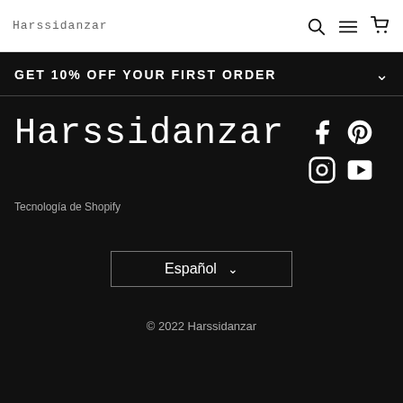Harssidanzar
GET 10% OFF YOUR FIRST ORDER
[Figure (logo): Harssidanzar brand logo in large white stylized font on black background]
[Figure (infographic): Social media icons: Facebook, Pinterest, Instagram, YouTube on black background]
Tecnología de Shopify
Español
© 2022 Harssidanzar